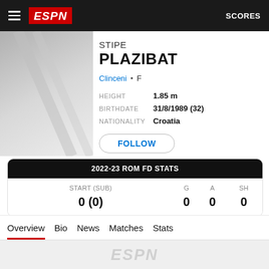ESPN  SCORES
STIPE PLAZIBAT
Clinceni • F
HEIGHT 1.85 m
BIRTHDATE 31/8/1989 (32)
NATIONALITY Croatia
FOLLOW
| START (SUB) | G | A | SH |
| --- | --- | --- | --- |
| 0 (0) | 0 | 0 | 0 |
2022-23 ROM FD STATS
Overview
Bio
News
Matches
Stats